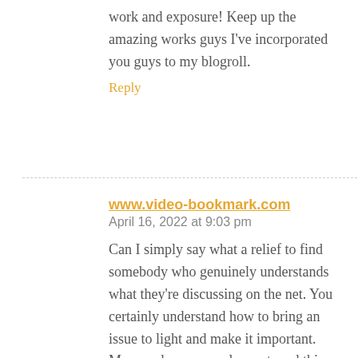work and exposure! Keep up the amazing works guys I've incorporated you guys to my blogroll.
Reply
www.video-bookmark.com
April 16, 2022 at 9:03 pm
Can I simply say what a relief to find somebody who genuinely understands what they're discussing on the net. You certainly understand how to bring an issue to light and make it important. More and more people must read this and understand this side of your story.
I can't believe you're not more popular since you surely have the gift.